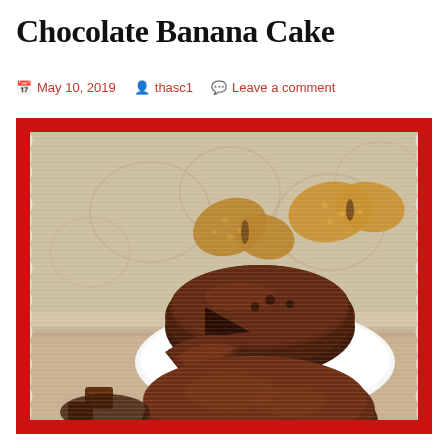Chocolate Banana Cake
May 10, 2019   thasc1   Leave a comment
[Figure (photo): Photo of chocolate banana cake slices on a white plate with decorative paper butterfly cutouts in the background and chocolate pieces in the foreground. Red border frame around the photo with distressed white edges.]